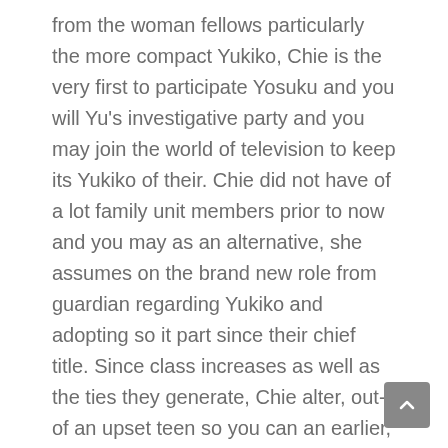from the woman fellows particularly the more compact Yukiko, Chie is the very first to participate Yosuku and you will Yu's investigative party and you may join the world of television to keep its Yukiko of their. Chie did not have of a lot family unit members prior to now and you may as an alternative, she assumes on the brand new role from guardian regarding Yukiko and adopting so it part since their chief title. Since class increases as well as the ties they generate, Chie alter, out-of an upset teen so you can an earlier, sure woman.
The ideal instance of and here the team of detectives that includes mascot Teddy ventures from the confines regarding Inaba and you may check out this new closest beach.
Because the desire often extremely get on the attractive Yukiko and you can the attractive Go up Chie's creativity